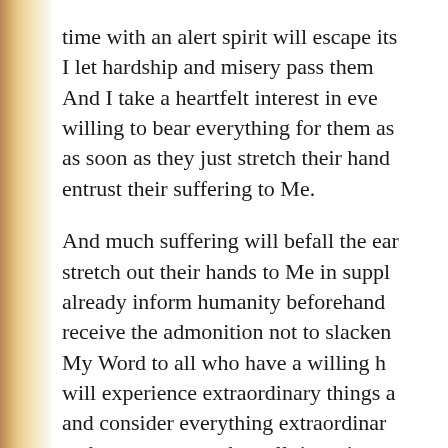time with an alert spirit will escape its… I let hardship and misery pass them … And I take a heartfelt interest in eve… willing to bear everything for them as … as soon as they just stretch their hand… entrust their suffering to Me.
And much suffering will befall the ear… stretch out their hands to Me in suppl… already inform humanity beforehand… receive the admonition not to slacken… My Word to all who have a willing h… will experience extraordinary things a… and consider everything extraordinar… and request strength at all times in o… emerge from this difficult time for thei…